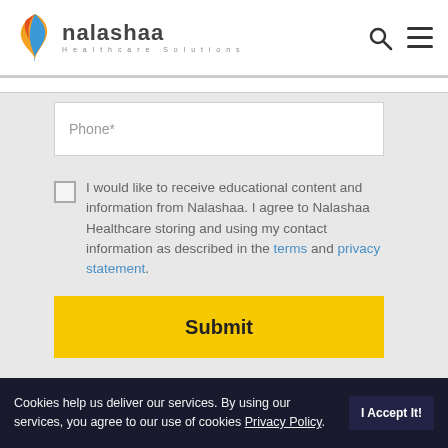[Figure (logo): Nalashaa Healthcare Solutions logo with colorful flame/leaf icon and company name]
Phone*
I would like to receive educational content and information from Nalashaa. I agree to Nalashaa Healthcare storing and using my contact information as described in the terms and privacy statement.
Submit
Cookies help us deliver our services. By using our services, you agree to our use of cookies Privacy Policy. I Accept It!